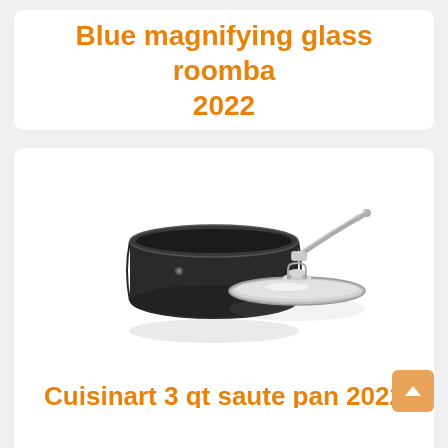Blue magnifying glass roomba 2022
[Figure (photo): A black non-stick Cuisinart saucepan with a stainless steel handle and a glass lid leaning against it, shown on a white background.]
Cuisinart 3 qt saute pan 2022